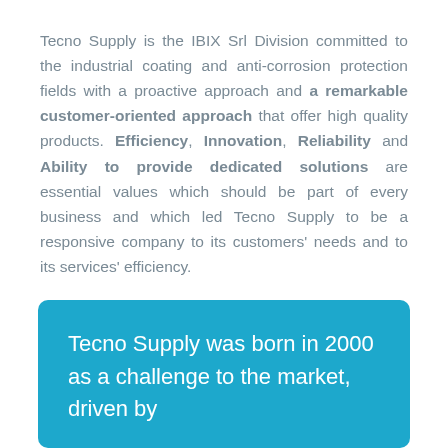Tecno Supply is the IBIX Srl Division committed to the industrial coating and anti-corrosion protection fields with a proactive approach and a remarkable customer-oriented approach that offer high quality products. Efficiency, Innovation, Reliability and Ability to provide dedicated solutions are essential values which should be part of every business and which led Tecno Supply to be a responsive company to its customers' needs and to its services' efficiency.
Tecno Supply was born in 2000 as a challenge to the market, driven by